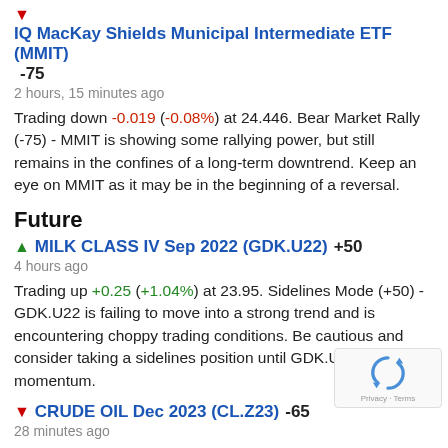IQ MacKay Shields Municipal Intermediate ETF (MMIT) -75
2 hours, 15 minutes ago
Trading down -0.019 (-0.08%) at 24.446. Bear Market Rally (-75) - MMIT is showing some rallying power, but still remains in the confines of a long-term downtrend. Keep an eye on MMIT as it may be in the beginning of a reversal.
Future
MILK CLASS IV Sep 2022 (GDK.U22) +50
4 hours ago
Trading up +0.25 (+1.04%) at 23.95. Sidelines Mode (+50) - GDK.U22 is failing to move into a strong trend and is encountering choppy trading conditions. Be cautious and consider taking a sidelines position until GDK.U22 can gain momentum.
CRUDE OIL Dec 2023 (CL.Z23) -65
28 minutes ago
Trading down -0.09 (-0.11%) at 83.00. Weak Downtrend - CL.Z23 is showing signs of a strengthening downtrend. Monitor